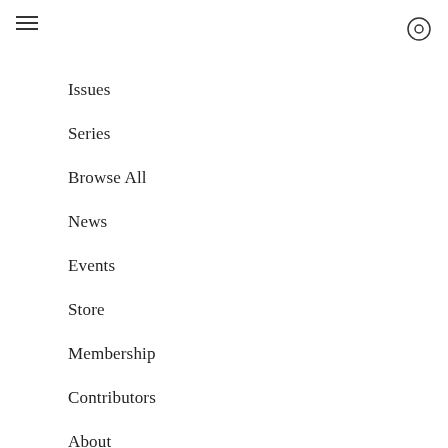[Figure (other): Hamburger menu icon (three horizontal lines)]
[Figure (other): Circle/target icon in top right corner]
Issues
Series
Browse All
News
Events
Store
Membership
Contributors
About
Mailing List
Submissions